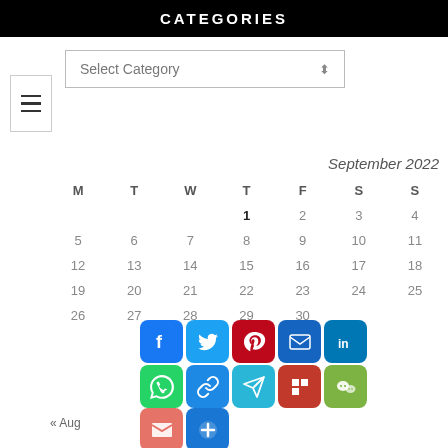CATEGORIES
Select Category
| M | T | W | T | F | S | S |
| --- | --- | --- | --- | --- | --- | --- |
|  |  |  | 1 | 2 | 3 | 4 |
| 5 | 6 | 7 | 8 | 9 | 10 | 11 |
| 12 | 13 | 14 | 15 | 16 | 17 | 18 |
| 19 | 20 | 21 | 22 | 23 | 24 | 25 |
| 26 | 27 | 28 | 29 | 30 |  |  |
« Aug